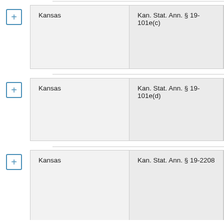| State | Statute |
| --- | --- |
| Kansas | Kan. Stat. Ann. § 19-101e(c) |
| Kansas | Kan. Stat. Ann. § 19-101e(d) |
| Kansas | Kan. Stat. Ann. § 19-2208 |